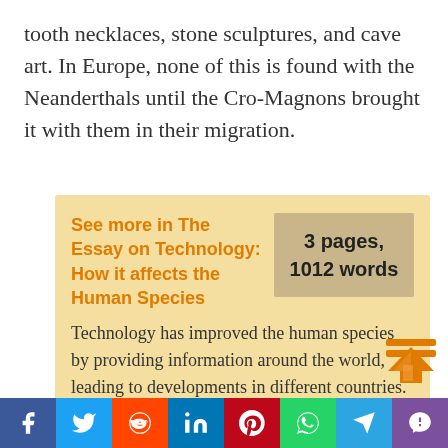tooth necklaces, stone sculptures, and cave art. In Europe, none of this is found with the Neanderthals until the Cro-Magnons brought it with them in their migration.
See more in The Essay on Technology: How it affects the Human Species
3 pages, 1012 words
Technology has improved the human species by providing information around the world, leading to developments in different countries. Biotechnology is improving the world of medicine,
[Figure (other): Social sharing bar with icons for Facebook, Twitter, Reddit, LinkedIn, Pinterest, WhatsApp, Telegram, and Viber]